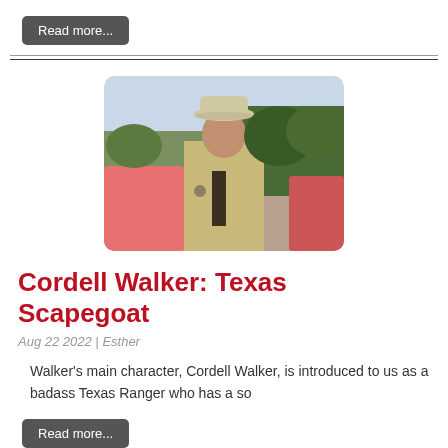Read more...
[Figure (photo): Man in cowboy hat and tan uniform shirt standing near a pink vehicle outdoors with trees in background]
Cordell Walker: Texas Scapegoat
Aug 22 2022 | Esther
Walker's main character, Cordell Walker, is introduced to us as a badass Texas Ranger who has a so
Read more...